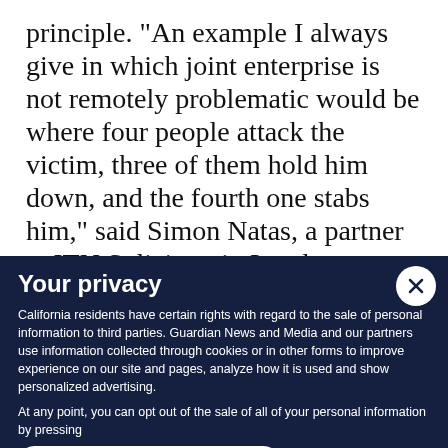principle. “An example I always give in which joint enterprise is not remotely problematic would be where four people attack the victim, three of them hold him down, and the fourth one stabs him,” said Simon Natas, a partner at ITN Solicitors in London,
Your privacy
California residents have certain rights with regard to the sale of personal information to third parties. Guardian News and Media and our partners use information collected through cookies or in other forms to improve experience on our site and pages, analyze how it is used and show personalized advertising.
At any point, you can opt out of the sale of all of your personal information by pressing
Do not sell my personal information
You can find out more in our privacy policy and cookie policy, and manage your choices by going to ‘California resident – Do Not Sell’ at the bottom of any page.